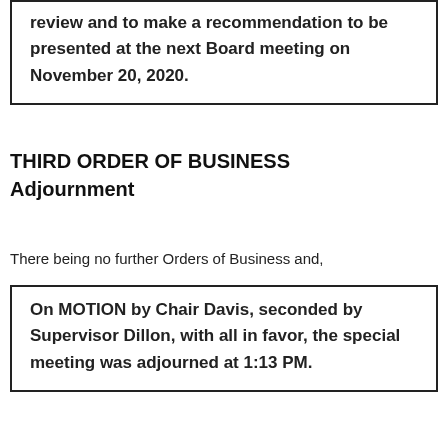review and to make a recommendation to be presented at the next Board meeting on November 20, 2020.
THIRD ORDER OF BUSINESS
Adjournment
There being no further Orders of Business and,
On MOTION by Chair Davis, seconded by Supervisor Dillon, with all in favor, the special meeting was adjourned at 1:13 PM.